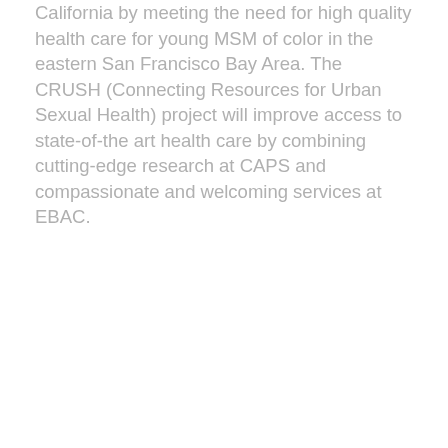California by meeting the need for high quality health care for young MSM of color in the eastern San Francisco Bay Area. The CRUSH (Connecting Resources for Urban Sexual Health) project will improve access to state-of-the art health care by combining cutting-edge research at CAPS and compassionate and welcoming services at EBAC.